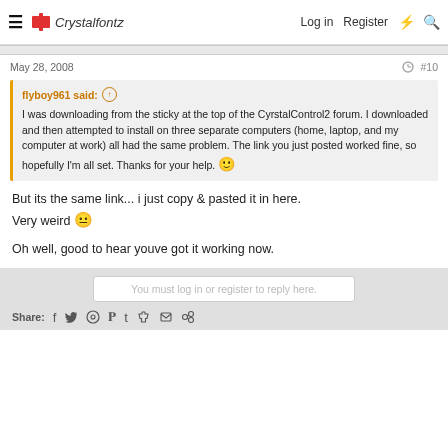Crystalfontz  Log in  Register
May 28, 2008  #10
flyboy961 said: ↑
I was downloading from the sticky at the top of the CyrstalControl2 forum. I downloaded and then attempted to install on three separate computers (home, laptop, and my computer at work) all had the same problem. The link you just posted worked fine, so hopefully I'm all set. Thanks for your help. 🙂
But its the same link... i just copy & pasted it in here.
Very weird 😐

Oh well, good to hear youve got it working now.
You must log in or register to reply here.
Share: